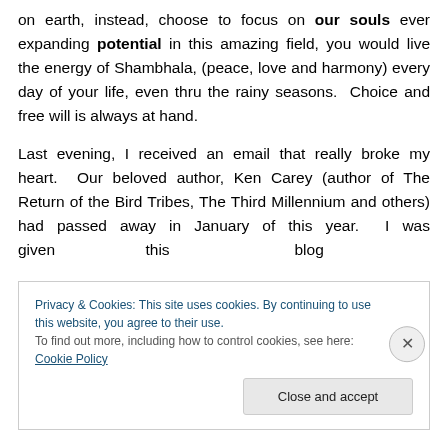on earth, instead, choose to focus on our souls ever expanding potential in this amazing field, you would live the energy of Shambhala, (peace, love and harmony) every day of your life, even thru the rainy seasons. Choice and free will is always at hand.
Last evening, I received an email that really broke my heart. Our beloved author, Ken Carey (author of The Return of the Bird Tribes, The Third Millennium and others) had passed away in January of this year. I was given this blog
Privacy & Cookies: This site uses cookies. By continuing to use this website, you agree to their use. To find out more, including how to control cookies, see here: Cookie Policy
Close and accept